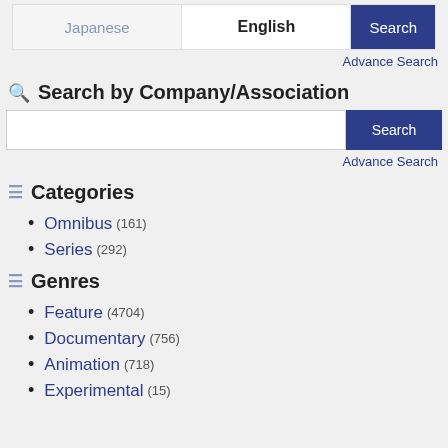[Figure (screenshot): Search interface with Japanese and English tabs and a Search button]
Advance Search
Search by Company/Association
[Figure (screenshot): Search input box with Search button]
Advance Search
Categories
Omnibus (161)
Series (292)
Genres
Feature (4704)
Documentary (756)
Animation (718)
Experimental (15)